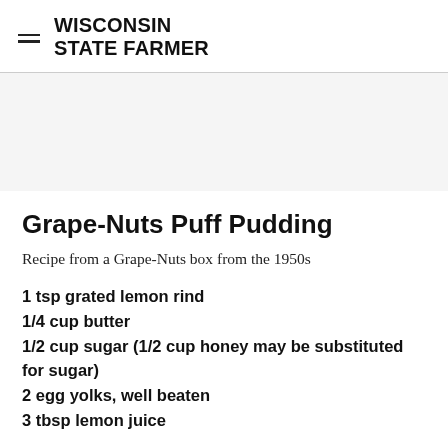WISCONSIN STATE FARMER
[Figure (other): Advertisement placeholder area with light gray background]
Grape-Nuts Puff Pudding
Recipe from a Grape-Nuts box from the 1950s
1 tsp grated lemon rind
1/4 cup butter
1/2 cup sugar (1/2 cup honey may be substituted for sugar)
2 egg yolks, well beaten
3 tbsp lemon juice